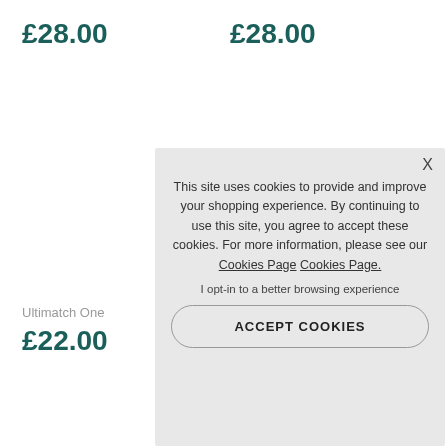£28.00
£28.00
Ultimatch One
£22.00
This site uses cookies to provide and improve your shopping experience. By continuing to use this site, you agree to accept these cookies. For more information, please see our Cookies Page Cookies Page.
I opt-in to a better browsing experience
ACCEPT COOKIES